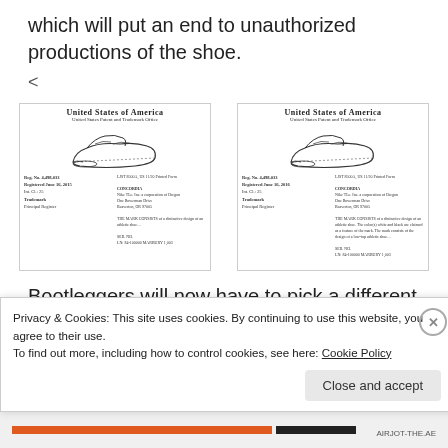which will put an end to unauthorized productions of the shoe.
[Figure (other): Two United States Patent and Trademark Office trademark registration certificates side by side, each showing a Nike shoe outline drawing and registration details.]
Bootleggers will now have to pick a different shoe other than anything created by Nike, Inc as the
Privacy & Cookies: This site uses cookies. By continuing to use this website, you agree to their use.
To find out more, including how to control cookies, see here: Cookie Policy
Close and accept